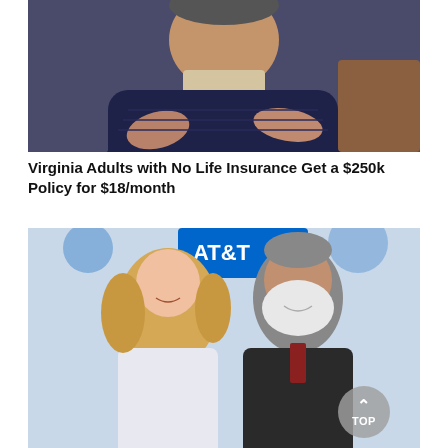[Figure (photo): Elderly man in a dark navy cardigan with a beige collared shirt, hands visible in the foreground, sitting in a chair.]
Virginia Adults with No Life Insurance Get a $250k Policy for $18/month
[Figure (photo): A blonde woman and an older man with a white beard smiling together at an event with AT&T signage in the background.]